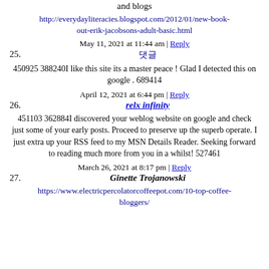and blogs
http://everydayliteracies.blogspot.com/2012/01/new-book-out-erik-jacobsons-adult-basic.html
May 11, 2021 at 11:44 am | Reply
25. 댓글
450925 388240I like this site its a master peace ! Glad I detected this on google . 689414
April 12, 2021 at 6:44 pm | Reply
26. relx infinity
451103 362884I discovered your weblog website on google and check just some of your early posts. Proceed to preserve up the superb operate. I just extra up your RSS feed to my MSN Details Reader. Seeking forward to reading much more from you in a whilst! 527461
March 26, 2021 at 8:17 pm | Reply
27. Ginette Trojanowski
https://www.electricpercolatorcoffeepot.com/10-top-coffee-bloggers/